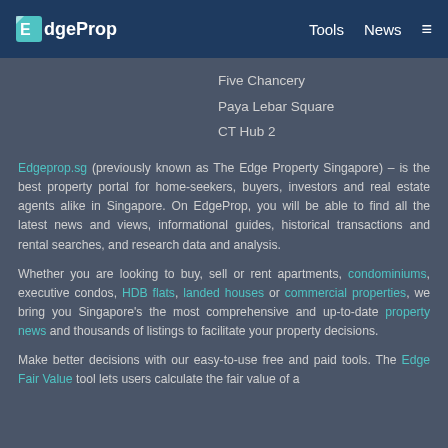EdgeProp — Tools News ≡
Five Chancery
Paya Lebar Square
CT Hub 2
Edgeprop.sg (previously known as The Edge Property Singapore) – is the best property portal for home-seekers, buyers, investors and real estate agents alike in Singapore. On EdgeProp, you will be able to find all the latest news and views, informational guides, historical transactions and rental searches, and research data and analysis.
Whether you are looking to buy, sell or rent apartments, condominiums, executive condos, HDB flats, landed houses or commercial properties, we bring you Singapore's the most comprehensive and up-to-date property news and thousands of listings to facilitate your property decisions.
Make better decisions with our easy-to-use free and paid tools. The Edge Fair Value tool lets users calculate the fair value of a